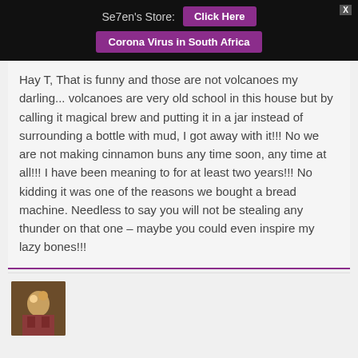Se7en's Store: Click Here | Corona Virus in South Africa
Hay T, That is funny and those are not volcanoes my darling... volcanoes are very old school in this house but by calling it magical brew and putting it in a jar instead of surrounding a bottle with mud, I got away with it!!! No we are not making cinnamon buns any time soon, any time at all!!! I have been meaning to for at least two years!!! No kidding it was one of the reasons we bought a bread machine. Needless to say you will not be stealing any thunder on that one – maybe you could even inspire my lazy bones!!!
[Figure (photo): Small thumbnail avatar image of a person or character, partially visible at bottom of page]